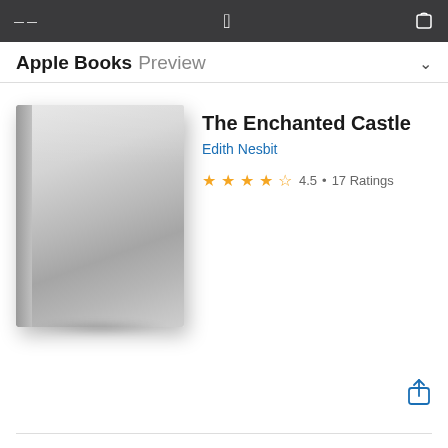Apple Books Preview
[Figure (illustration): Generic blank book cover with grey gradient and spine, showing a placeholder book image]
The Enchanted Castle
Edith Nesbit
★★★★½ 4.5 • 17 Ratings